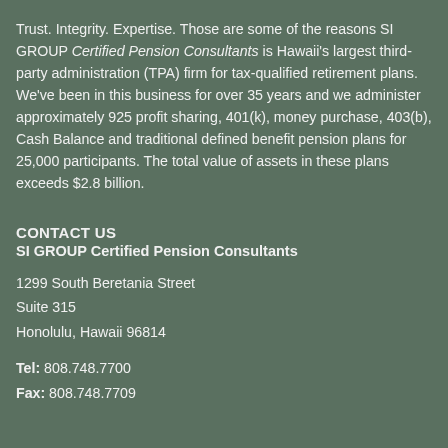Trust. Integrity. Expertise. Those are some of the reasons SI GROUP Certified Pension Consultants is Hawaii's largest third-party administration (TPA) firm for tax-qualified retirement plans. We've been in this business for over 35 years and we administer approximately 925 profit sharing, 401(k), money purchase, 403(b), Cash Balance and traditional defined benefit pension plans for 25,000 participants. The total value of assets in these plans exceeds $2.8 billion.
CONTACT US
SI GROUP Certified Pension Consultants
1299 South Beretania Street
Suite 315
Honolulu, Hawaii 96814
Tel: 808.748.7700
Fax: 808.748.7709